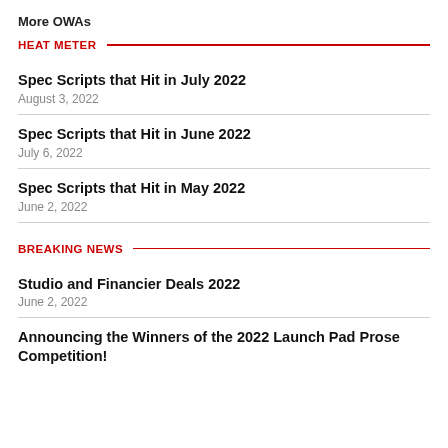More OWAs
HEAT METER
Spec Scripts that Hit in July 2022
August 3, 2022
Spec Scripts that Hit in June 2022
July 6, 2022
Spec Scripts that Hit in May 2022
June 2, 2022
BREAKING NEWS
Studio and Financier Deals 2022
June 2, 2022
Announcing the Winners of the 2022 Launch Pad Prose Competition!